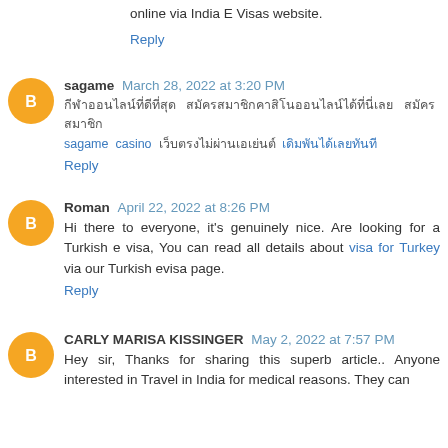online via India E Visas website.
Reply
sagame March 28, 2022 at 3:20 PM
[Thai text comment]
Reply
Roman April 22, 2022 at 8:26 PM
Hi there to everyone, it's genuinely nice. Are looking for a Turkish e visa, You can read all details about visa for Turkey via our Turkish evisa page.
Reply
CARLY MARISA KISSINGER May 2, 2022 at 7:57 PM
Hey sir, Thanks for sharing this superb article.. Anyone interested in Travel in India for medical reasons. They can